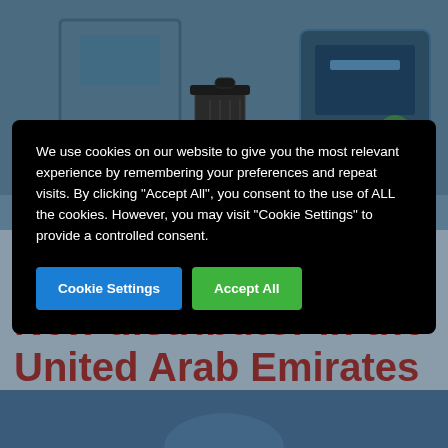[Figure (illustration): Office/workspace illustration with a monitor, trash can, coffee cup, and plant in dark blue tones]
We use cookies on our website to give you the most relevant experience by remembering your preferences and repeat visits. By clicking "Accept All", you consent to the use of ALL the cookies. However, you may visit "Cookie Settings" to provide a controlled consent.
Cookie Settings
Accept All
New distributor in the United Arab Emirates
[Figure (illustration): Dark blue partial illustration at bottom of page]